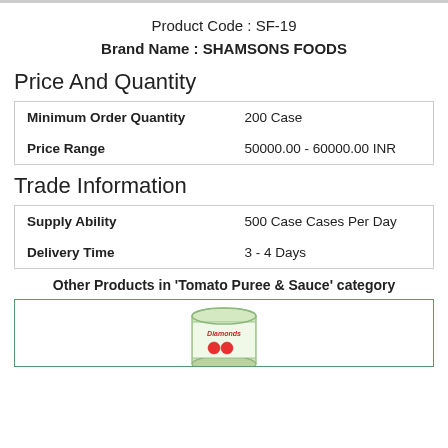Product Code : SF-19
Brand Name : SHAMSONS FOODS
Price And Quantity
|  |  |
| --- | --- |
| Minimum Order Quantity | 200 Case |
| Price Range | 50000.00 - 60000.00 INR |
Trade Information
|  |  |
| --- | --- |
| Supply Ability | 500 Case Cases Per Day |
| Delivery Time | 3 - 4 Days |
Other Products in 'Tomato Puree & Sauce' category
[Figure (photo): A can of Diamonds brand product (tomato puree or sauce) shown in a product listing box]